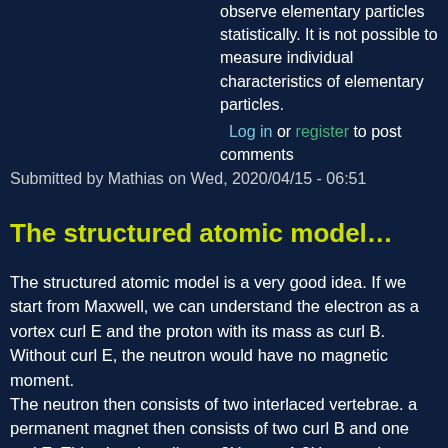observe elementary particles statistically. It is not possible to measure individual characteristics of elementary particles.
Log in or register to post comments
Submitted by Mathias on Wed, 2020/04/15 - 06:51
The structured atomic model…
The structured atomic model is a very good idea. If we start from Maxwell, we can understand the electron as a vortex curl E and the proton with its mass as curl B. Without curl E, the neutron would have no magnetic moment.
The neutron then consists of two interlaced vertebrae. a permanent magnet then consists of two curl B and one curl E. This also describes a 2H core. A 3He core then consists of 3 curl B and one curl E. These three basic building blocks allow all isotopes, the stable ones and the